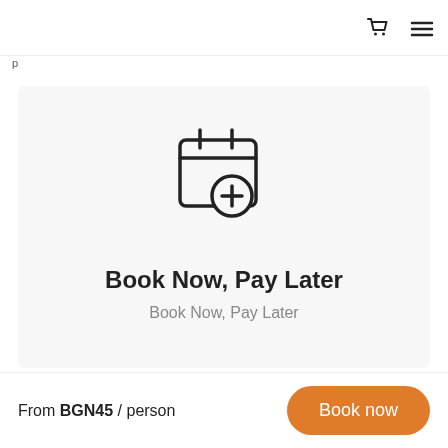[Figure (illustration): Shopping cart icon in top navigation bar]
[Figure (illustration): Hamburger menu icon in top navigation bar]
p
[Figure (illustration): Calendar with plus sign icon representing Book Now Pay Later feature]
Book Now, Pay Later
Book Now, Pay Later
[Figure (illustration): Person with transfer/swap arrow icon]
From BGN45 / person
Book now